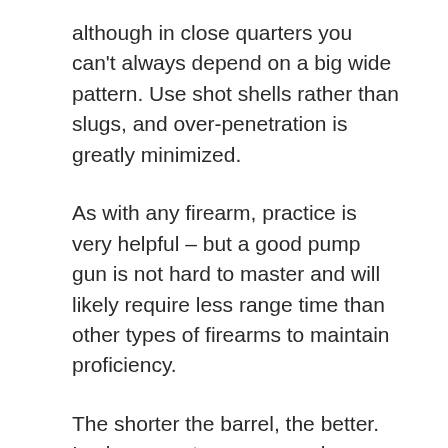although in close quarters you can't always depend on a big wide pattern. Use shot shells rather than slugs, and over-penetration is greatly minimized.
As with any firearm, practice is very helpful – but a good pump gun is not hard to master and will likely require less range time than other types of firearms to maintain proficiency.
The shorter the barrel, the better. In close quarters, you need maneuverability, and a short barrel gives it to you. The legal minimum is 18 inches, and they're usually sold just a bit longer than that, which will work fine.